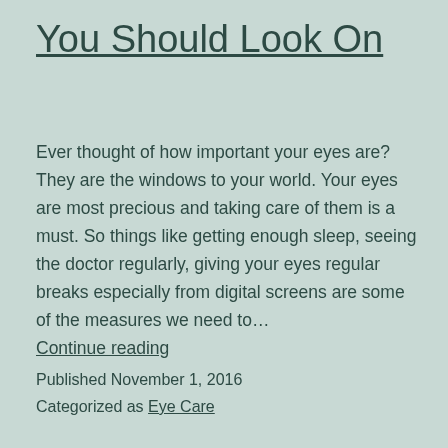You Should Look On
Ever thought of how important your eyes are? They are the windows to your world. Your eyes are most precious and taking care of them is a must. So things like getting enough sleep, seeing the doctor regularly, giving your eyes regular breaks especially from digital screens are some of the measures we need to… Continue reading
Published November 1, 2016
Categorized as Eye Care